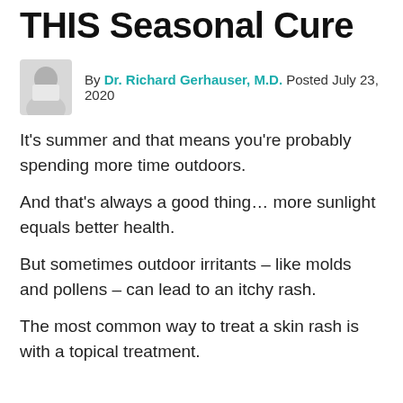THIS Seasonal Cure
By Dr. Richard Gerhauser, M.D. Posted July 23, 2020
It’s summer and that means you’re probably spending more time outdoors.
And that’s always a good thing… more sunlight equals better health.
But sometimes outdoor irritants – like molds and pollens – can lead to an itchy rash.
The most common way to treat a skin rash is with a topical treatment.